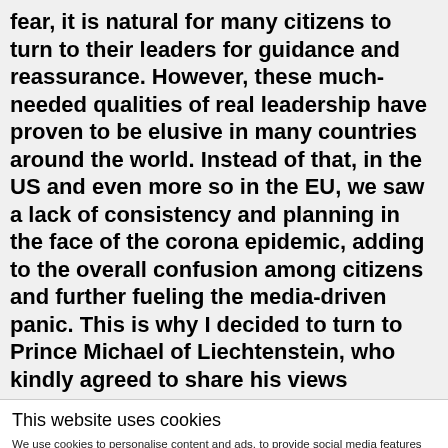fear, it is natural for many citizens to turn to their leaders for guidance and reassurance. However, these much-needed qualities of real leadership have proven to be elusive in many countries around the world. Instead of that, in the US and even more so in the EU, we saw a lack of consistency and planning in the face of the corona epidemic, adding to the overall confusion among citizens and further fueling the media-driven panic. This is why I decided to turn to Prince Michael of Liechtenstein, who kindly agreed to share his views
This website uses cookies
We use cookies to personalise content and ads, to provide social media features and to analyse our traffic. We also share information about your use of our site with our social media, advertising and analytics partners who may combine it with other information that you've provided to them or that they've collected from your use of their services.